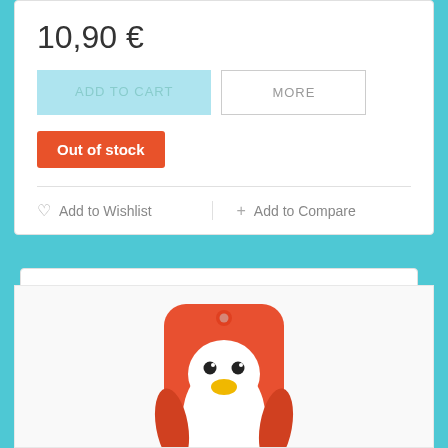10,90 €
ADD TO CART
MORE
Out of stock
Add to Wishlist
Add to Compare
[Figure (photo): Red penguin-shaped silicone phone case with white belly, black eyes, yellow beak and yellow feet on orange-red background]